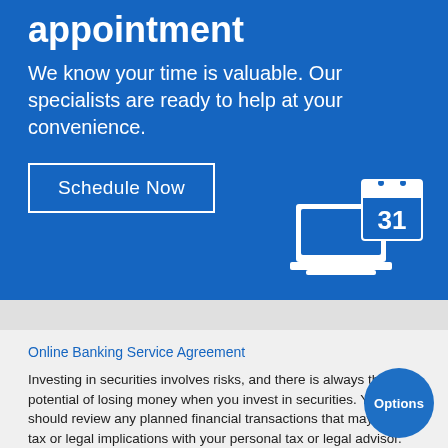appointment
We know your time is valuable. Our specialists are ready to help at your convenience.
[Figure (illustration): White icon of a laptop computer with a calendar showing the number 31 on screen, on a blue background]
Schedule Now
Online Banking Service Agreement
Investing in securities involves risks, and there is always the potential of losing money when you invest in securities. You should review any planned financial transactions that may have tax or legal implications with your personal tax or legal advisor.
Options